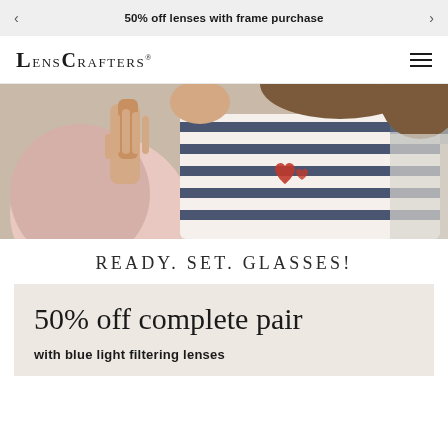50% off lenses with frame purchase
LensCrafters
[Figure (photo): A woman in a navy blue and white striped shirt holding a tablet or phone, reading, with a pink background on the left side.]
READY. SET. GLASSES!
50% off complete pair
with blue light filtering lenses